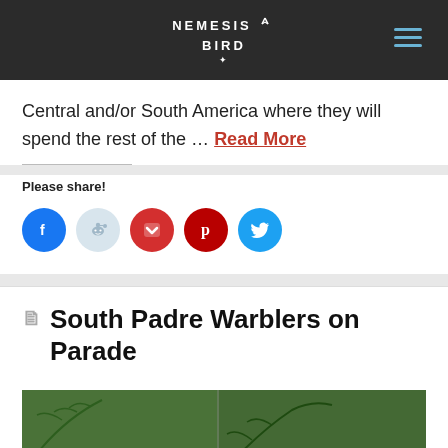NEMESIS BIRD
Central and/or South America where they will spend the rest of the … Read More
Please share!
[Figure (infographic): Social sharing icons: Facebook, Reddit, Pocket, Pinterest, Twitter]
South Padre Warblers on Parade
[Figure (photo): Photo of birds in green foliage/ferns]